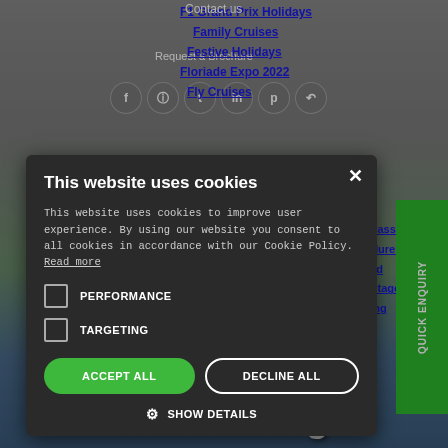F1 Grand Prix Holidays
Family Cruises
Festive Holidays
Floriade Expo 2022
Fly Cruises
Contact us
Request a Brochure
[Figure (screenshot): Website cookie consent modal overlay on a travel website. Modal has dark background with title 'This website uses cookies', descriptive text about cookie policy, two unchecked checkboxes for PERFORMANCE and TARGETING, ACCEPT ALL and DECLINE ALL buttons, and SHOW DETAILS option. Background shows navigation links and Nuremberg city imagery.]
This website uses cookies
This website uses cookies to improve user experience. By using our website you consent to all cookies in accordance with our Cookie Policy. Read more
PERFORMANCE
TARGETING
ACCEPT ALL
DECLINE ALL
SHOW DETAILS
QUICK ENQUIRY
Nuremberg